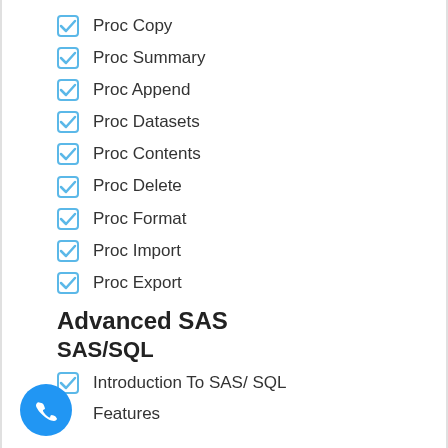Proc Copy
Proc Summary
Proc Append
Proc Datasets
Proc Contents
Proc Delete
Proc Format
Proc Import
Proc Export
Advanced SAS
SAS/SQL
Introduction To SAS/ SQL
Features
Uses